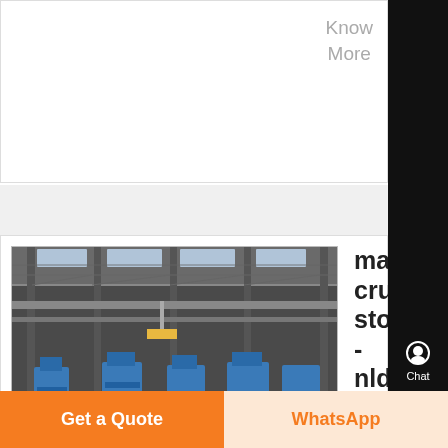Know
More
[Figure (photo): Interior of an industrial factory/manufacturing plant with overhead cranes, blue machinery, and structural steel framework]
making crushed stone ct - nldcindia
making crushed stone ct, outdoor stone fire pit: , crushed brick in c Crushers Plants
Chat
E-mail
Top
Get a Quote
WhatsApp